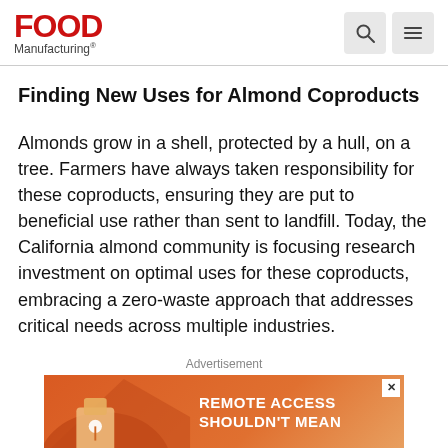Food Manufacturing
Finding New Uses for Almond Coproducts
Almonds grow in a shell, protected by a hull, on a tree. Farmers have always taken responsibility for these coproducts, ensuring they are put to beneficial use rather than sent to landfill. Today, the California almond community is focusing research investment on optimal uses for these coproducts, embracing a zero-waste approach that addresses critical needs across multiple industries.
Advertisement
[Figure (screenshot): Advertisement banner with orange gradient background reading 'REMOTE ACCESS SHOULDN'T MEAN' in white bold uppercase text, with an X close button in top right corner]